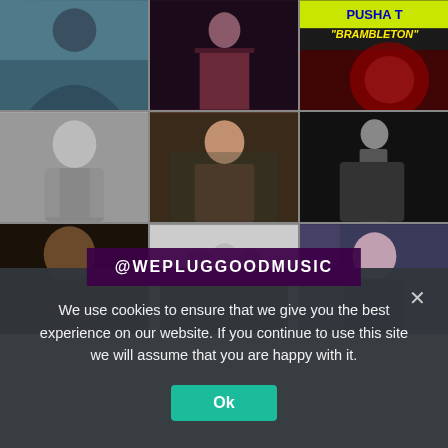[Figure (photo): 3x3 grid of celebrity/music photos. Top row: person bending in teal jacket, person in red outfit, Pusha T 'Brambleton' album art with yellow text on black and red rose imagery. Middle row: black and white shirtless male artist with crossed arms, woman with long red hair in checkered top, black and white photo of woman in long black dress. Bottom row: bearded male rapper in black and red jacket, group of women in black outfits, woman with long black hair in black strapless outfit. Overlay text '@WEPLUGGOODMUSIC' in white on dark purple banner.]
We use cookies to ensure that we give you the best experience on our website. If you continue to use this site we will assume that you are happy with it.